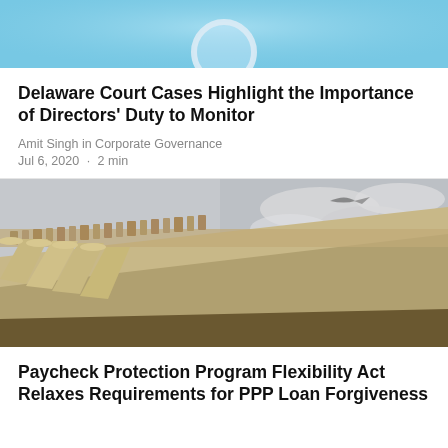[Figure (photo): Close-up of a magnifying glass on a light blue background, partially visible at top of page]
Delaware Court Cases Highlight the Importance of Directors' Duty to Monitor
Amit Singh in Corporate Governance
Jul 6, 2020  ·  2 min
[Figure (photo): Low-angle view of a classical courthouse or government building with ornate columns and friezes against a cloudy sky]
Paycheck Protection Program Flexibility Act Relaxes Requirements for PPP Loan Forgiveness
Amit Singh in Employment, References and related information...